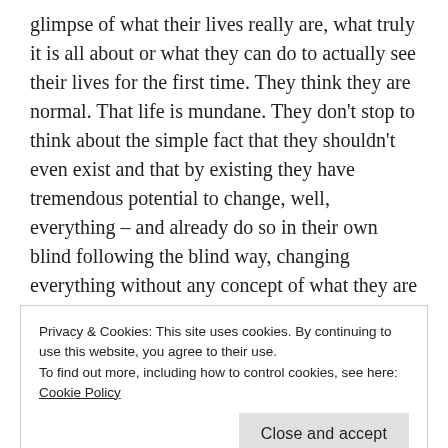glimpse of what their lives really are, what truly it is all about or what they can do to actually see their lives for the first time. They think they are normal. That life is mundane. They don't stop to think about the simple fact that they shouldn't even exist and that by existing they have tremendous potential to change, well, everything – and already do so in their own blind following the blind way, changing everything without any concept of what they are doing or if it was for good or not.
Humans have been on a trajectory away from their true nature for a while now.
Privacy & Cookies: This site uses cookies. By continuing to use this website, you agree to their use.
To find out more, including how to control cookies, see here: Cookie Policy
separates us from our nature. It separates us from